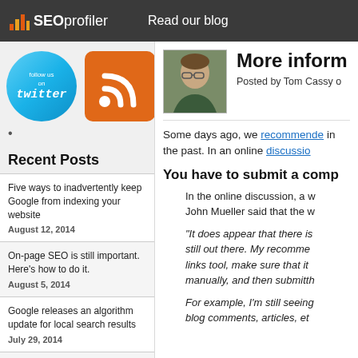SEOprofiler | Read our blog
[Figure (logo): Twitter follow us button (circular blue) and RSS feed button (orange square with RSS icon)]
Five ways to inadvertently keep Google from indexing your website — August 12, 2014
On-page SEO is still important. Here's how to do it. — August 5, 2014
Google releases an algorithm update for local search results — July 29, 2014
Google's new robots.txt testing tool and how to check your website
More inform
Posted by Tom Cassy o
Some days ago, we recommende in the past. In an online discussio
You have to submit a comp
In the online discussion, a w John Mueller said that the w
"It does appear that there is still out there. My recomme links tool, make sure that it manually, and then submitth
For example, I'm still seeing blog comments, articles, et